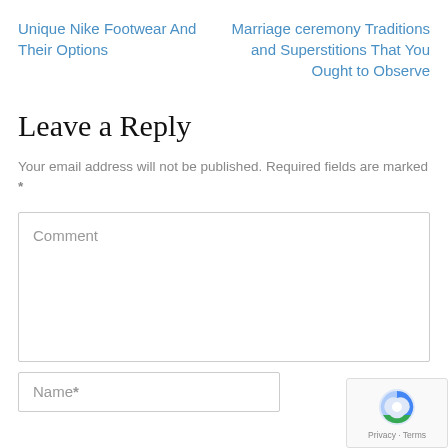Unique Nike Footwear And Their Options
Marriage ceremony Traditions and Superstitions That You Ought to Observe
Leave a Reply
Your email address will not be published. Required fields are marked *
Comment
Name*